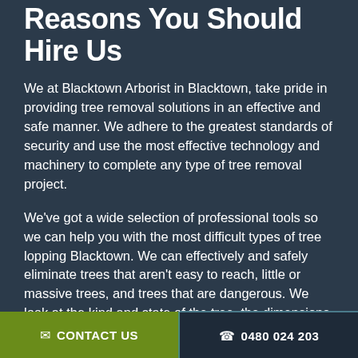Reasons You Should Hire Us
We at Blacktown Arborist in Blacktown, take pride in providing tree removal solutions in an effective and safe manner. We adhere to the greatest standards of security and use the most effective technology and machinery to complete any type of tree removal project.
We've got a wide selection of professional tools so we can help you with the most difficult types of tree lopping Blacktown. We can effectively and safely eliminate trees that aren't easy to reach, little or massive trees, and trees that are dangerous. We look at the kind and state of the tree, the dimensions, and its environment very carefully.
✉ CONTACT US   📞 0480 024 203